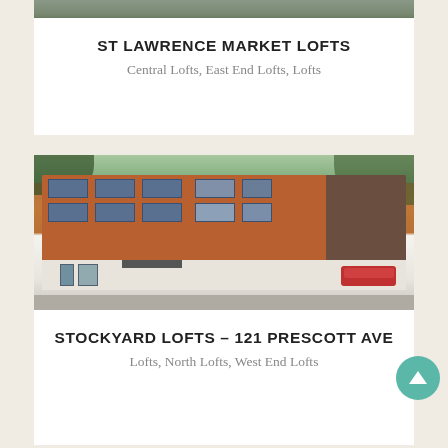[Figure (photo): Partial top view of a building or street scene, cropped at top of page]
ST LAWRENCE MARKET LOFTS
Central Lofts, East End Lofts, Lofts
[Figure (photo): Photo of a 3-storey red brick loft building at street level with trees, ground floor commercial space, and a red car parked in front]
STOCKYARD LOFTS – 121 PRESCOTT AVE
Lofts, North Lofts, West End Lofts